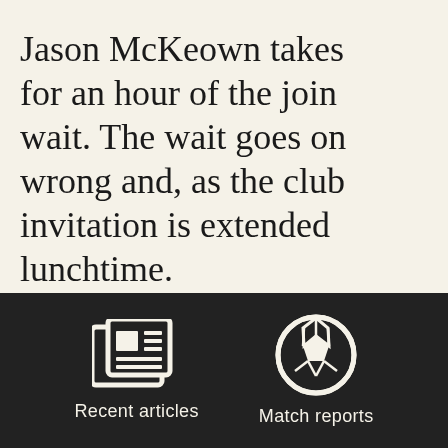Jason McKeown takes for an hour of the join wait. The wait goes on wrong and, as the club invitation is extended lunchtime.

Julian Rhodes would b rules him out – that tu signing of Jon Worthin Lawn is going to answ
[Figure (infographic): Dark navigation bar with two icons: a newspaper icon labeled 'Recent articles' and a soccer ball icon labeled 'Match reports']